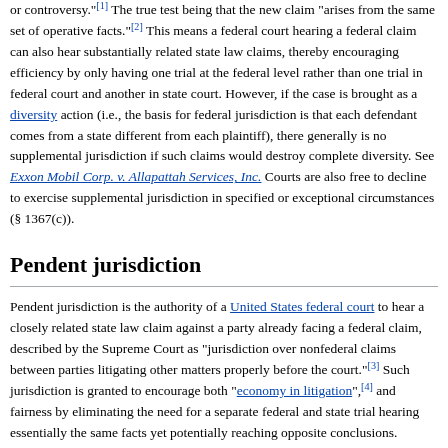or controversy."[1] The true test being that the new claim "arises from the same set of operative facts."[2] This means a federal court hearing a federal claim can also hear substantially related state law claims, thereby encouraging efficiency by only having one trial at the federal level rather than one trial in federal court and another in state court. However, if the case is brought as a diversity action (i.e., the basis for federal jurisdiction is that each defendant comes from a state different from each plaintiff), there generally is no supplemental jurisdiction if such claims would destroy complete diversity. See Exxon Mobil Corp. v. Allapattah Services, Inc. Courts are also free to decline to exercise supplemental jurisdiction in specified or exceptional circumstances (§ 1367(c)).
Pendent jurisdiction
Pendent jurisdiction is the authority of a United States federal court to hear a closely related state law claim against a party already facing a federal claim, described by the Supreme Court as "jurisdiction over nonfederal claims between parties litigating other matters properly before the court."[3] Such jurisdiction is granted to encourage both "economy in litigation",[4] and fairness by eliminating the need for a separate federal and state trial hearing essentially the same facts yet potentially reaching opposite conclusions.